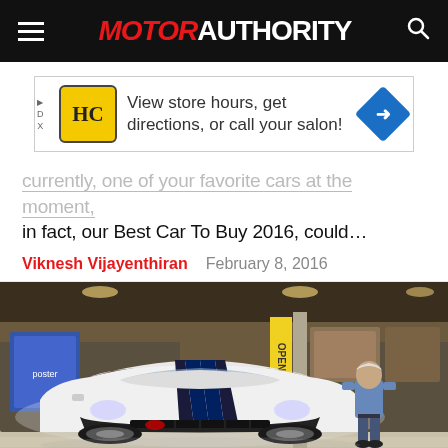MOTOR AUTHORITY
[Figure (photo): Advertisement banner: HC logo, 'View store hours, get directions, or call your salon!' with blue diamond arrow icon]
currently, one of your favorite cars at the moment, in fact, our Best Car To Buy 2016, could…
Viknesh Vijayenthiran   February 8, 2016
[Figure (photo): Photo of a white Ford Mustang Shelby GT350 with dark blue racing stripes parked inside Jay Leno's garage, with a man in a blue shirt standing beside it]